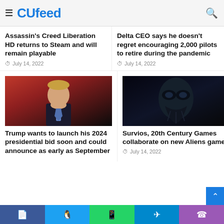CUfeed
Assassin's Creed Liberation HD returns to Steam and will remain playable
July 14, 2022
Delta CEO says he doesn't regret encouraging 2,000 pilots to retire during the pandemic
July 14, 2022
[Figure (photo): Photo of Trump looking stern, dark suit, red background]
Trump wants to launch his 2024 presidential bid soon and could announce as early as September
[Figure (photo): Dark image of an alien creature for Aliens game]
Survios, 20th Century Games collaborate on new Aliens game
July 14, 2022
Facebook Twitter WhatsApp Telegram Phone